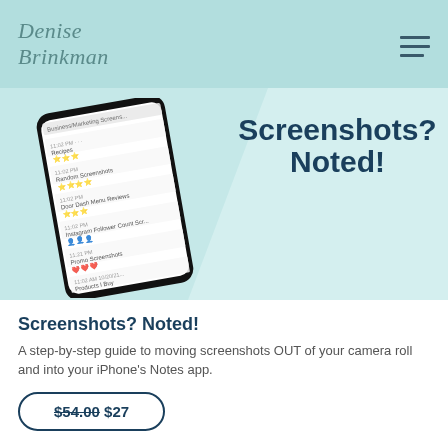Denise Brinkman
[Figure (screenshot): Website header showing 'Denise Brinkman' logo in cursive teal on light teal background with hamburger menu icon on right]
[Figure (photo): iPhone showing Notes app screenshot folders list, displayed on a light teal geometric background with large bold text 'Screenshots? Noted!']
Screenshots? Noted!
A step-by-step guide to moving screenshots OUT of your camera roll and into your iPhone's Notes app.
$54.00 $27